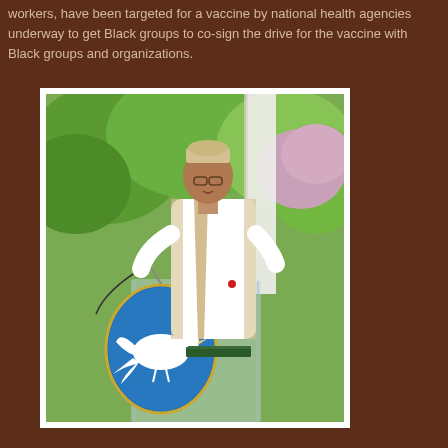workers, have been targeted for a vaccine by national health agencies underway to get Black groups to co-sign the drive for the vaccine with Black groups and organizations.
[Figure (photo): A man wearing white robes and a decorative cap stands at a clear podium with a dove emblem on it. There is a book on the podium. Green trees are visible in the background.]